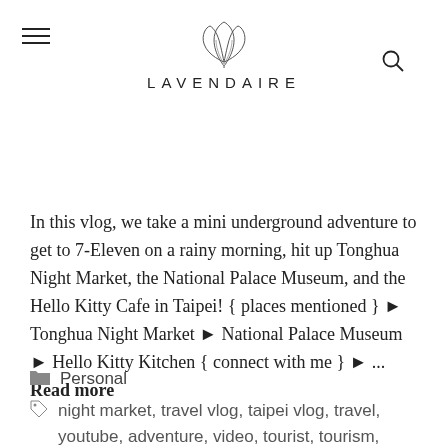LAVENDAIRE
In this vlog, we take a mini underground adventure to get to 7-Eleven on a rainy morning, hit up Tonghua Night Market, the National Palace Museum, and the Hello Kitty Cafe in Taipei! { places mentioned } ► Tonghua Night Market ► National Palace Museum ► Hello Kitty Kitchen { connect with me } ► ... Read more
Personal
night market, travel vlog, taipei vlog, travel, youtube, adventure, video, tourist, tourism,